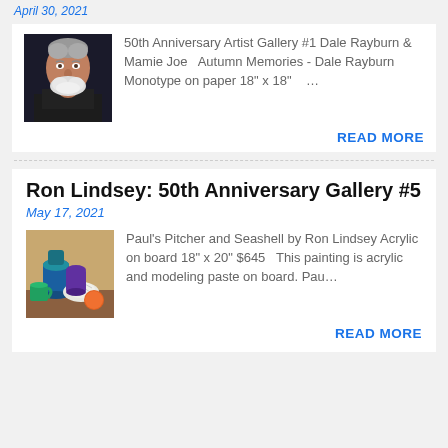April 30, 2021
[Figure (photo): Portrait photo of an elderly man with white beard]
50th Anniversary Artist Gallery #1 Dale Rayburn & Mamie Joe   Autumn Memories - Dale Rayburn Monotype on paper 18" x 18"   …
READ MORE
Ron Lindsey: 50th Anniversary Gallery #5
May 17, 2021
[Figure (photo): Still life painting of a blue pitcher, seashell, green mug, and orange on a wooden surface]
Paul's Pitcher and Seashell by Ron Lindsey Acrylic on board 18" x 20" $645   This painting is acrylic and modeling paste on board. Pau…
READ MORE